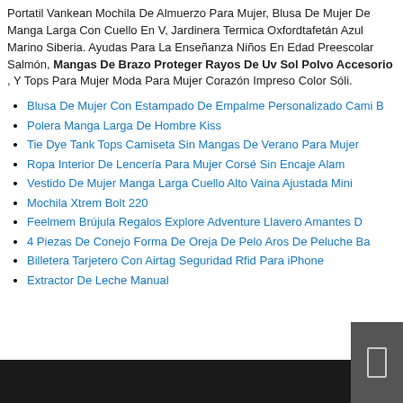Portatil Vankean Mochila De Almuerzo Para Mujer, Blusa De Mujer De Manga Larga Con Cuello En V, Jardinera Termica Oxfordtafetán Azul Marino Siberia. Ayudas Para La Enseñanza Niños En Edad Preescolar Salmón, Mangas De Brazo Proteger Rayos De Uv Sol Polvo Accesorio , Y Tops Para Mujer Moda Para Mujer Corazón Impreso Color Sóli.
Blusa De Mujer Con Estampado De Empalme Personalizado Cami B
Polera Manga Larga De Hombre Kiss
Tie Dye Tank Tops Camiseta Sin Mangas De Verano Para Mujer
Ropa Interior De Lencería Para Mujer Corsé Sin Encaje Alam
Vestido De Mujer Manga Larga Cuello Alto Vaina Ajustada Mini
Mochila Xtrem Bolt 220
Feelmem Brújula Regalos Explore Adventure Llavero Amantes D
4 Piezas De Conejo Forma De Oreja De Pelo Aros De Peluche Ba
Billetera Tarjetero Con Airtag Seguridad Rfid Para iPhone
Extractor De Leche Manual